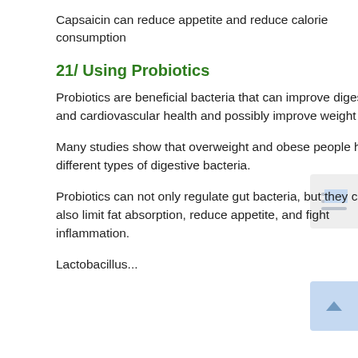Capsaicin can reduce appetite and reduce calorie consumption
21/ Using Probiotics
Probiotics are beneficial bacteria that can improve digestive and cardiovascular health and possibly improve weight loss.
Many studies show that overweight and obese people have different types of digestive bacteria.
Probiotics can not only regulate gut bacteria, but they can also limit fat absorption, reduce appetite, and fight inflammation.
Lactobacillus...